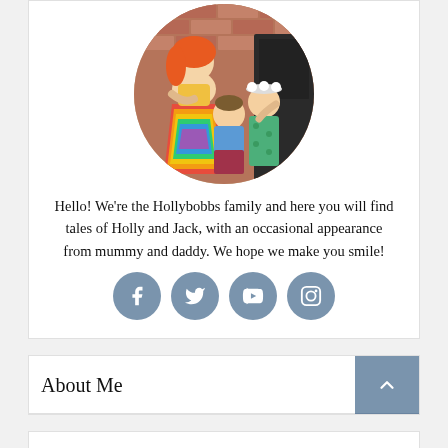[Figure (photo): Circular cropped family photo showing a woman with bright orange/red hair in a rainbow striped skirt, a young boy, and a girl with flower headband, posed in front of a brick wall and dark door.]
Hello! We're the Hollybobbs family and here you will find tales of Holly and Jack, with an occasional appearance from mummy and daddy. We hope we make you smile!
[Figure (infographic): Four circular social media icon buttons in muted blue-grey: Facebook (f), Twitter (bird), YouTube (play), Instagram (camera)]
About Me